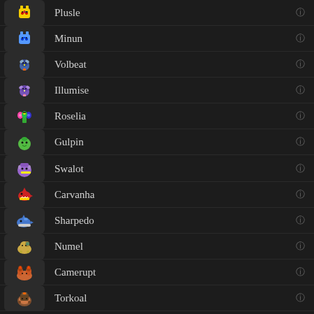Plusle
Minun
Volbeat
Illumise
Roselia
Gulpin
Swalot
Carvanha
Sharpedo
Numel
Camerupt
Torkoal